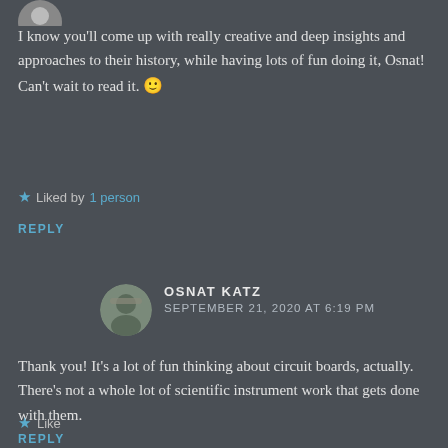[Figure (photo): Partial avatar/profile photo at top left, cropped]
I know you'll come up with really creative and deep insights and approaches to their history, while having lots of fun doing it, Osnat! Can't wait to read it. 🙂
★ Liked by 1 person
REPLY
[Figure (photo): Circular avatar photo of Osnat Katz wearing a hat]
OSNAT KATZ
SEPTEMBER 21, 2020 AT 6:19 PM
Thank you! It's a lot of fun thinking about circuit boards, actually. There's not a whole lot of scientific instrument work that gets done with them.
★ Like
REPLY